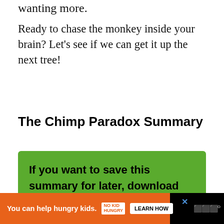wanting more.
Ready to chase the monkey inside your brain? Let's see if we can get it up the next tree!
The Chimp Paradox Summary
If you want to save this summary for later, download the free PDF and read it whenever you want.
You can help hungry kids. NO KID HUNGRY LEARN HOW